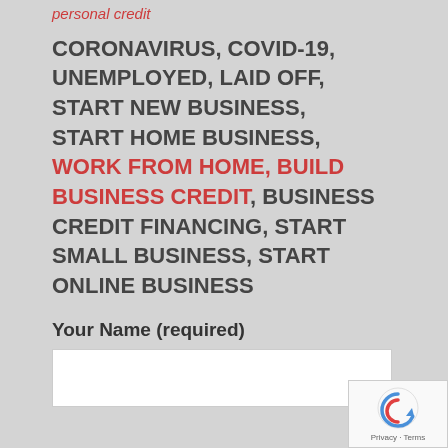personal credit
CORONAVIRUS, COVID-19, UNEMPLOYED, LAID OFF, START NEW BUSINESS, START HOME BUSINESS, WORK FROM HOME, BUILD BUSINESS CREDIT, BUSINESS CREDIT FINANCING, START SMALL BUSINESS, START ONLINE BUSINESS
Your Name (required)
[Figure (other): reCAPTCHA privacy badge with circular arrow icon and Privacy - Terms text]